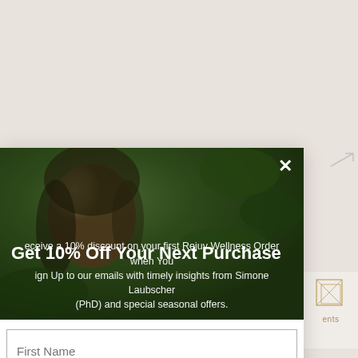[Figure (photo): Woman smiling with eyes closed outdoors with green foliage background, used as modal header image]
Get 10% Off Your Next Purchase
Receive a 10% discount on your first Rejuv Wellness Order when You Sign Up to our emails with timely insights from Simone Laubscher (PhD) and special seasonal offers.
First Name
Email
Opt in to receive news and updates.
SUBSCRIBE